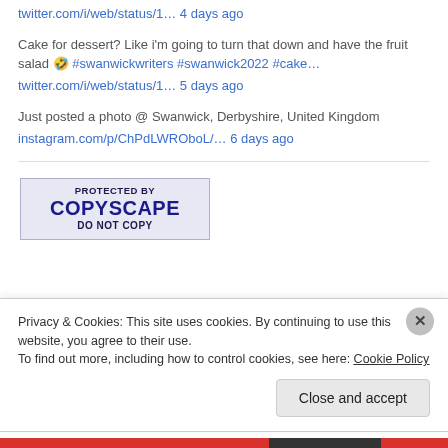twitter.com/i/web/status/1… 4 days ago
Cake for dessert? Like i'm going to turn that down and have the fruit salad 🤣 #swanwickwriters #swanwick2022 #cake… twitter.com/i/web/status/1… 5 days ago
Just posted a photo @ Swanwick, Derbyshire, United Kingdom instagram.com/p/ChPdLWROboL/… 6 days ago
[Figure (logo): Copyscape badge: PROTECTED BY COPYSCAPE DO NOT COPY]
Privacy & Cookies: This site uses cookies. By continuing to use this website, you agree to their use. To find out more, including how to control cookies, see here: Cookie Policy